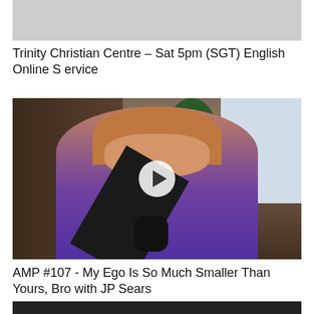[Figure (screenshot): Gray placeholder thumbnail image at top]
Trinity Christian Centre – Sat 5pm (SGT) English Online Service
[Figure (screenshot): Video thumbnail showing a person with long reddish hair wearing a purple t-shirt sitting at a podcast microphone in front of shelves with products and a plant. A circular play button overlay is centered on the image.]
AMP #107 - My Ego Is So Much Smaller Than Yours, Bro with JP Sears
[Figure (screenshot): Bottom partial thumbnail image, dark/split image cropped at bottom of page]